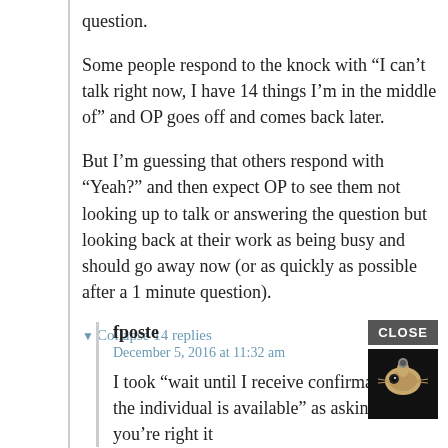question.
Some people respond to the knock with “I can’t talk right now, I have 14 things I’m in the middle of” and OP goes off and comes back later.
But I’m guessing that others respond with “Yeah?” and then expect OP to see them not looking up to talk or answering the question but looking back at their work as being busy and should go away now (or as quickly as possible after a 1 minute question).
Collapse 14 replies
fposte
December 5, 2016 at 11:32 am
I took “wait until I receive confirmation that the individual is available” as asking, but you’re right it